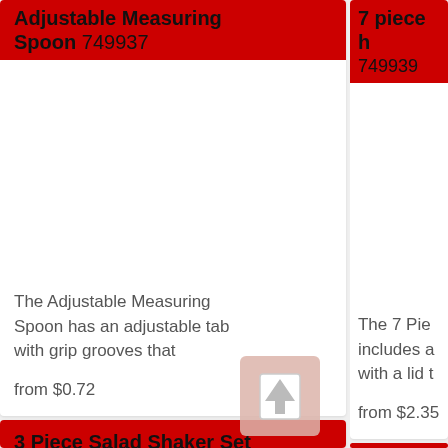Adjustable Measuring Spoon 749937
The Adjustable Measuring Spoon has an adjustable tab with grip grooves that
from $0.72
7 piece h... 749939
The 7 Pie... includes a... with a lid t...
from $2.35
3 Piece Salad Shaker Set 749949
Ice Crea...